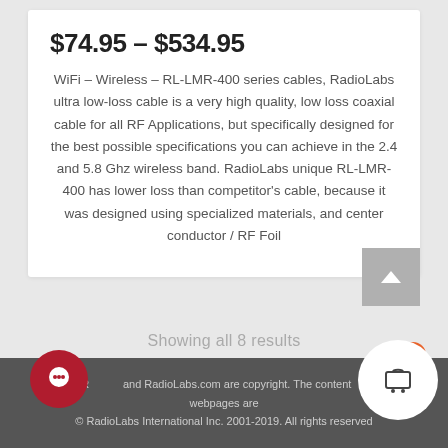$74.95 – $534.95
WiFi – Wireless – RL-LMR-400 series cables, RadioLabs ultra low-loss cable is a very high quality, low loss coaxial cable for all RF Applications, but specifically designed for the best possible specifications you can achieve in the 2.4 and 5.8 Ghz wireless band. RadioLabs unique RL-LMR-400 has lower loss than competitor's cable, because it was designed using specialized materials, and center conductor / RF Foil
Showing all 8 results
RadioLabs and RadioLabs.com are copyright. The content of our webpages are
© RadioLabs International Inc. 2001-2019. All rights reserved